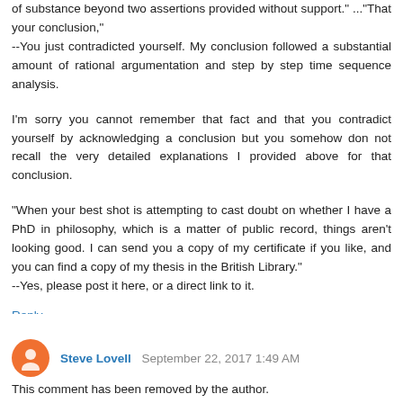of substance beyond two assertions provided without support." ..."That your conclusion,"
--You just contradicted yourself. My conclusion followed a substantial amount of rational argumentation and step by step time sequence analysis.
I'm sorry you cannot remember that fact and that you contradict yourself by acknowledging a conclusion but you somehow don not recall the very detailed explanations I provided above for that conclusion.
"When your best shot is attempting to cast doubt on whether I have a PhD in philosophy, which is a matter of public record, things aren't looking good. I can send you a copy of my certificate if you like, and you can find a copy of my thesis in the British Library."
--Yes, please post it here, or a direct link to it.
Reply
Steve Lovell  September 22, 2017 1:49 AM
This comment has been removed by the author.